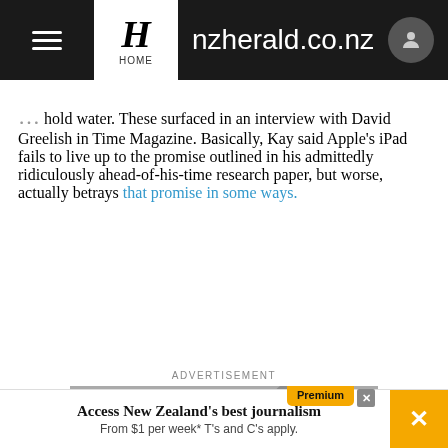nzherald.co.nz
hold water. These surfaced in an interview with David Greelish in Time Magazine. Basically, Kay said Apple's iPad fails to live up to the promise outlined in his admittedly ridiculously ahead-of-his-time research paper, but worse, actually betrays that promise in some ways.
ADVERTISEMENT
[Figure (screenshot): NZ Herald Premium advertisement: 'Make Dad's day, every day.' with orange overlay and video play button]
Access New Zealand's best journalism From $1 per week* T's and C's apply.